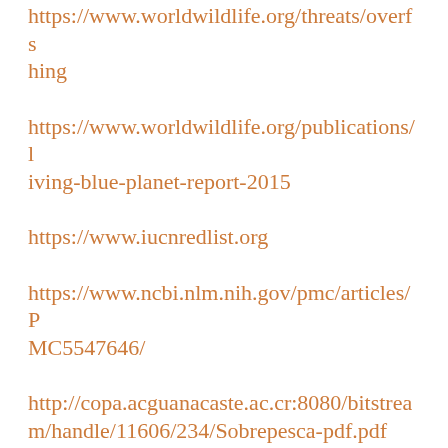https://www.worldwildlife.org/threats/overfishing
https://www.worldwildlife.org/publications/living-blue-planet-report-2015
https://www.iucnredlist.org
https://www.ncbi.nlm.nih.gov/pmc/articles/PMC5547646/
http://copa.acguanacaste.ac.cr:8080/bitstream/handle/11606/234/Sobrepesca-pdf.pdf
https://news.mongabay.com/2015/01/oceans-15-meet-the-species-that-have-vanished-from-our-oceans-and-seas/